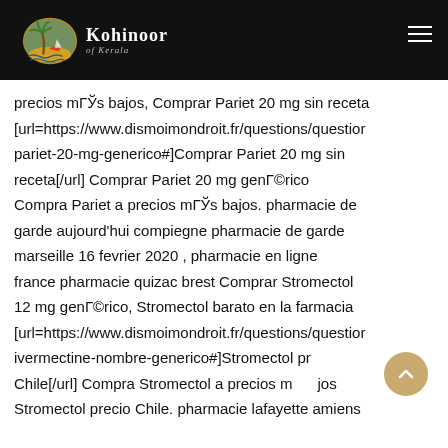Kohinoor of Kerala
precios mГЎs bajos, Comprar Pariet 20 mg sin receta [url=https://www.dismoimondroit.fr/questions/question/pariet-20-mg-generico#]Comprar Pariet 20 mg sin receta[/url] Comprar Pariet 20 mg genГ©rico Compra Pariet a precios mГЎs bajos. pharmacie de garde aujourd'hui compiegne pharmacie de garde marseille 16 fevrier 2020 , pharmacie en ligne france pharmacie quizac brest Comprar Stromectol 12 mg genГ©rico, Stromectol barato en la farmacia [url=https://www.dismoimondroit.fr/questions/question/ivermectine-nombre-generico#]Stromectol precio Chile[/url] Compra Stromectol a precios mÃ¡s bajos Stromectol precio Chile. pharmacie lafayette amiens